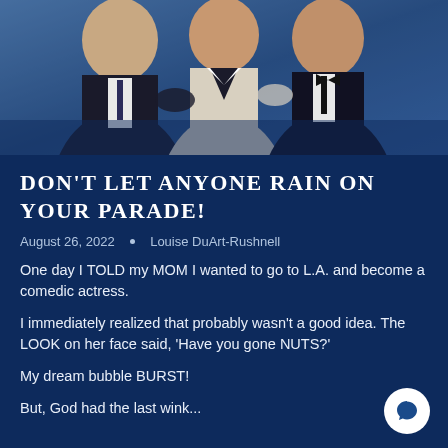[Figure (photo): Three people posing together in formal attire (tuxedos/evening wear) against a blue background]
DON'T LET ANYONE RAIN ON YOUR PARADE!
August 26, 2022  •  Louise DuArt-Rushnell
One day I TOLD my MOM I wanted to go to L.A. and become a comedic actress.
I immediately realized that probably wasn't a good idea. The LOOK on her face said, 'Have you gone NUTS?'
My dream bubble BURST!
But, God had the last wink...